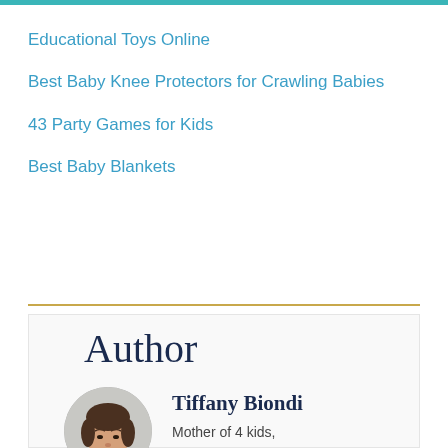Educational Toys Online
Best Baby Knee Protectors for Crawling Babies
43 Party Games for Kids
Best Baby Blankets
Author
[Figure (photo): Circular portrait photo of Tiffany Biondi, a woman with dark brown hair]
Tiffany Biondi
Mother of 4 kids,